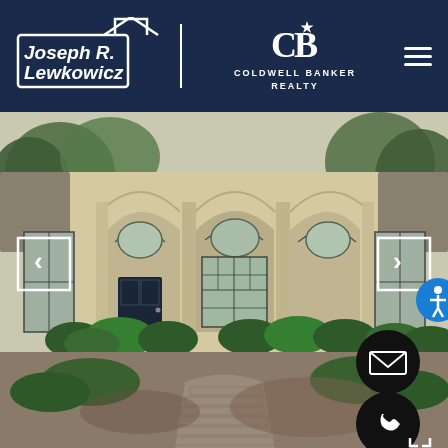[Figure (logo): Joseph R. Lewkowicz logo with house outline and Coldwell Banker Realty logo, on dark navy header with hamburger menu]
[Figure (photo): Exterior photo of a single-story home with arched entryway featuring three arches, dark front door, large arched window, green shrubs along the front, and a brick paver walkway leading to the entrance. Navigation arrows on left and right sides, email and phone contact buttons on lower right.]